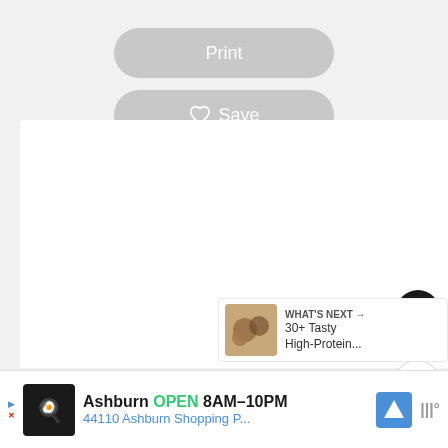[Figure (screenshot): UI button labeled Print with rounded pill shape in gray]
[Figure (screenshot): UI button labeled Save with heart icon in gray rounded pill shape]
[Figure (screenshot): White content card area with heart/like/share action buttons on the right. Heart button shows 87 likes. What's Next banner showing 30+ Tasty High-Protein... with food image.]
[Figure (screenshot): Advertisement banner: Ashburn OPEN 8AM-10PM, 44110 Ashburn Shopping P... with chef logo, navigation arrow icon, and weather icon]